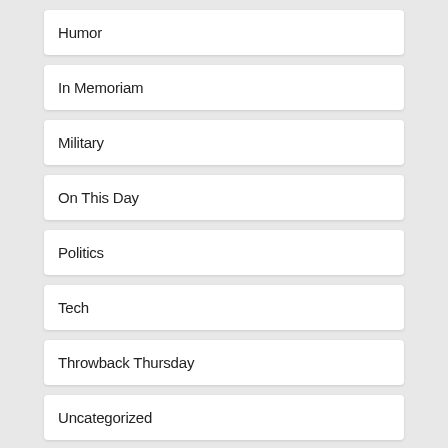Humor
In Memoriam
Military
On This Day
Politics
Tech
Throwback Thursday
Uncategorized